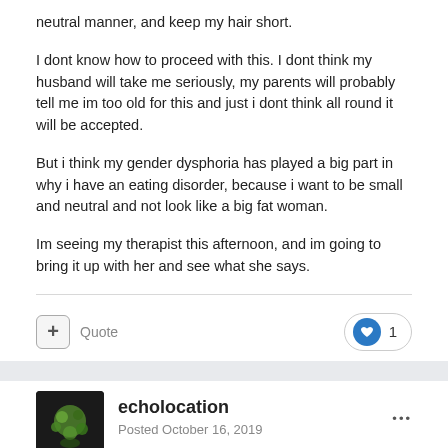neutral manner, and keep my hair short.
I dont know how to proceed with this. I dont think my husband will take me seriously, my parents will probably tell me im too old for this and just i dont think all round it will be accepted.
But i think my gender dysphoria has played a big part in why i have an eating disorder, because i want to be small and neutral and not look like a big fat woman.
Im seeing my therapist this afternoon, and im going to bring it up with her and see what she says.
echolocation
Posted October 16, 2019
have you heard of the term non-binary? that's what lots of people use to describe themselves when they identify differently